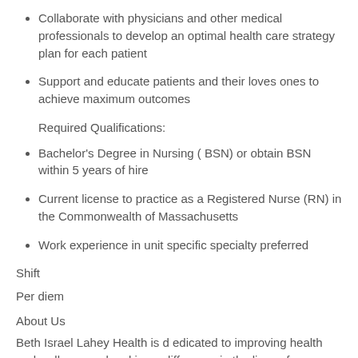Collaborate with physicians and other medical professionals to develop an optimal health care strategy plan for each patient
Support and educate patients and their loves ones to achieve maximum outcomes
Required Qualifications:
Bachelor's Degree in Nursing ( BSN) or obtain BSN within 5 years of hire
Current license to practice as a Registered Nurse (RN) in the Commonwealth of Massachusetts
Work experience in unit specific specialty preferred
Shift
Per diem
About Us
Beth Israel Lahey Health is d edicated to improving health and wellness and making a difference in the lives of our patients, their families and all members of the communities we serve. Formed in March 2019, Beth Israel Lahey Health is a patient-centered, integrated care delivery system providing a continuum of services